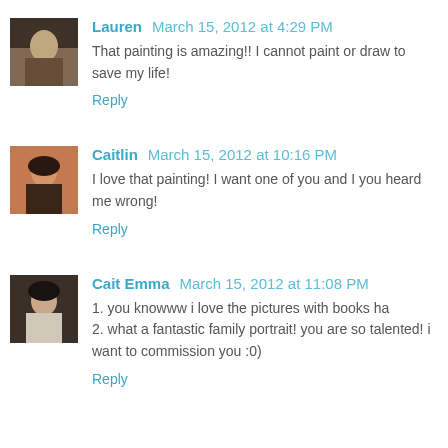[Figure (photo): Avatar photo of Lauren, showing a person in a room with warm tones]
Lauren March 15, 2012 at 4:29 PM
That painting is amazing!! I cannot paint or draw to save my life!
Reply
[Figure (photo): Avatar photo of Caitlin, a person in a dark outfit]
Caitlin March 15, 2012 at 10:16 PM
I love that painting! I want one of you and I you heard me wrong!
Reply
[Figure (photo): Avatar photo of Cait Emma, a person with dark hair]
Cait Emma March 15, 2012 at 11:08 PM
1. you knowww i love the pictures with books ha
2. what a fantastic family portrait! you are so talented! i want to commission you :0)
Reply